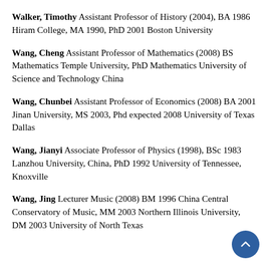Walker, Timothy Assistant Professor of History (2004), BA 1986 Hiram College, MA 1990, PhD 2001 Boston University
Wang, Cheng Assistant Professor of Mathematics (2008) BS Mathematics Temple University, PhD Mathematics University of Science and Technology China
Wang, Chunbei Assistant Professor of Economics (2008) BA 2001 Jinan University, MS 2003, Phd expected 2008 University of Texas Dallas
Wang, Jianyi Associate Professor of Physics (1998), BSc 1983 Lanzhou University, China, PhD 1992 University of Tennessee, Knoxville
Wang, Jing Lecturer Music (2008) BM 1996 China Central Conservatory of Music, MM 2003 Northern Illinois University, DM 2003 University of North Texas